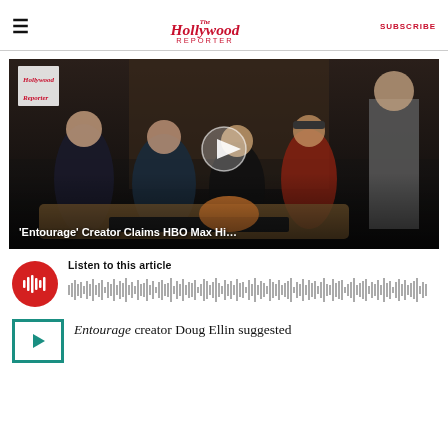The Hollywood Reporter — SUBSCRIBE
[Figure (screenshot): Video thumbnail of Entourage cast seated on couch with man in suit standing, overlay text reads 'Entourage' Creator Claims HBO Max Hi...]
[Figure (infographic): Audio player with red circular play button and audio waveform. Text: Listen to this article]
Entourage creator Doug Ellin suggested